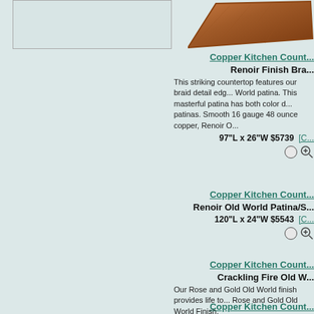[Figure (photo): Empty placeholder box on left side]
[Figure (photo): Copper countertop product image top right with braid edge detail]
Copper Kitchen Count...
Renoir Finish Bra...
This striking countertop features our braid detail edg... World patina. This masterful patina has both color d... patinas. Smooth 16 gauge 48 ounce copper, Renoir O...
97"L x 26"W $5739  [C...
Copper Kitchen Count...
Renoir Old World Patina/S...
120"L x 24"W $5543  [C...
Copper Kitchen Count...
Crackling Fire Old W...
Our Rose and Gold Old World finish provides life to... Rose and Gold Old World Finish.
84"L x 26"W $2919  [C...
Copper Kitchen Count...